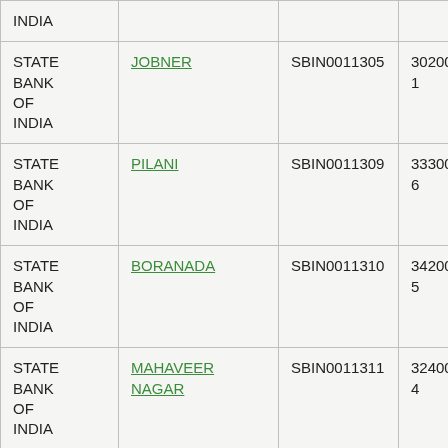| Bank | Branch | IFSC | MICR |
| --- | --- | --- | --- |
| STATE BANK OF INDIA |  |  |  |
| STATE BANK OF INDIA | JOBNER | SBIN0011305 | 302002041 |
| STATE BANK OF INDIA | PILANI | SBIN0011309 | 333002006 |
| STATE BANK OF INDIA | BORANADA | SBIN0011310 | 342002015 |
| STATE BANK OF INDIA | MAHAVEER NAGAR | SBIN0011311 | 324002004 |